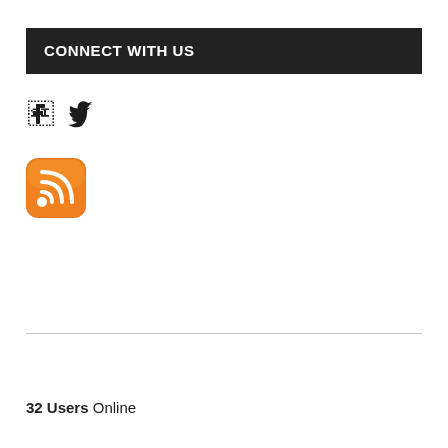CONNECT WITH US
[Figure (illustration): Facebook and Twitter social media icons in black]
[Figure (illustration): RSS feed icon with orange rounded square background and white signal symbol]
32 Users Online